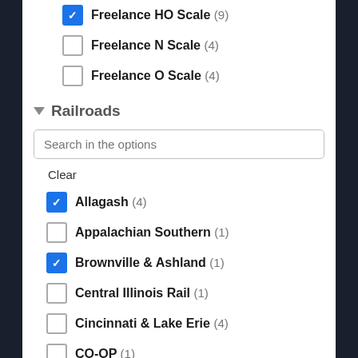Freelance HO Scale (9) [checked]
Freelance N Scale (4) [unchecked]
Freelance O Scale (4) [unchecked]
Railroads
Search in the options
Clear
Allagash (4) [checked]
Appalachian Southern (1) [unchecked]
Brownville & Ashland (1) [checked]
Central Illinois Rail (1) [unchecked]
Cincinnati & Lake Erie (4) [unchecked]
CO-OP (1) [unchecked]
Dry Hill Terminal (2) [unchecked]
Florida & Gulf Coast (1) [unchecked]
Georgia Road (9) [unchecked]